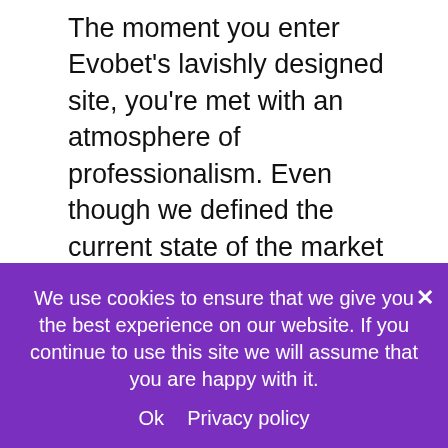The moment you enter Evobet's lavishly designed site, you're met with an atmosphere of professionalism. Even though we defined the current state of the market as challenging for newer bookies, they still have some advantages. While bigger and older brands have recognizable branding, newer ones can implement more appealing design solutions and stand out without too much effort.
A black background is always a welcome sight on a betting site. Too many bookies opt to use white as their color of choice, which often results in content not being overly visible because everything is too bright. Black gives front-end developers more room to adjust and add multimedia elements that truly 'pop'
We use cookies to ensure that we give you the best experience on our website. If you continue to use this site we will assume that you are happy with it.
Ok   Privacy policy